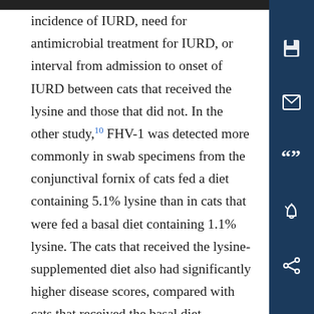incidence of IURD, need for antimicrobial treatment for IURD, or interval from admission to onset of IURD between cats that received the lysine and those that did not. In the other study,10 FHV-1 was detected more commonly in swab specimens from the conjunctival fornix of cats fed a diet containing 5.1% lysine than in cats that were fed a basal diet containing 1.1% lysine. The cats that received the lysine-supplemented diet also had significantly higher disease scores, compared with cats that received the basal diet. However, those findings were attributed to a subset of male cats that received the lysine-supplemented diet but exhibited fighting behavior that likely contributed to additional stress within that group.10 In the present study, no sex-specific effects of dietary lysine